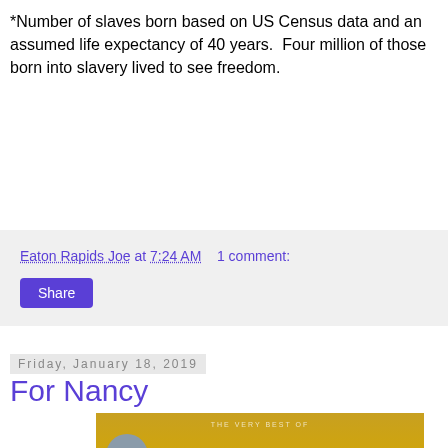*Number of slaves born based on US Census data and an assumed life expectancy of 40 years.  Four million of those born into slavery lived to see freedom.
Eaton Rapids Joe at 7:24 AM    1 comment:
Share
Friday, January 18, 2019
For Nancy
[Figure (screenshot): YouTube video thumbnail for 'Fun Fun Fun- The ...' Beach Boys video, showing the Beach Boys album artwork with golden/brown background and stylized Beach Boys logo text.]